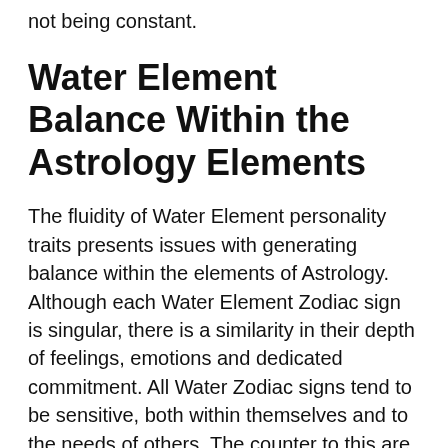not being constant.
Water Element Balance Within the Astrology Elements
The fluidity of Water Element personality traits presents issues with generating balance within the elements of Astrology. Although each Water Element Zodiac sign is singular, there is a similarity in their depth of feelings, emotions and dedicated commitment. All Water Zodiac signs tend to be sensitive, both within themselves and to the needs of others. The counter to this are the dangers of an imbalance of intensity resulting in being too keyed into others to their own detriment or driven to the point of driving the individuality out of others, transforming them into